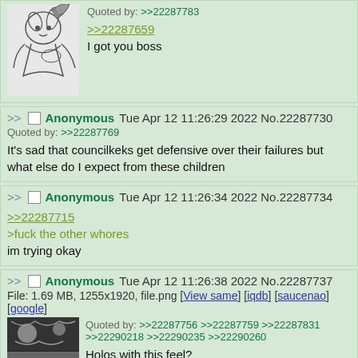[Figure (illustration): Manga-style illustration of wolf/fox character]
Quoted by: >>22287783
>>22287659
I got you boss
Anonymous Tue Apr 12 11:26:29 2022 No.22287730
Quoted by: >>22287769
It's sad that councilkeks get defensive over their failures but what else do I expect from these children
Anonymous Tue Apr 12 11:26:34 2022 No.22287734
>>22287715
>fuck the other whores
im trying okay
Anonymous Tue Apr 12 11:26:38 2022 No.22287737
File: 1.69 MB, 1255x1920, file.png [View same] [iqdb] [saucenao] [google]
Quoted by: >>22287756 >>22287759 >>22287831 >>22290218 >>22290235 >>22290260
Holos with this feel?
[Figure (illustration): Manga panel thumbnail]